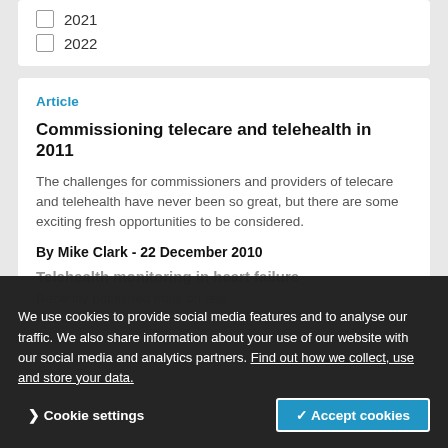2021
2022
Article
Commissioning telecare and telehealth in 2011
The challenges for commissioners and providers of telecare and telehealth have never been so great, but there are some exciting fresh opportunities to be considered.
By Mike Clark - 22 December 2010
Telehealth monitoring in heart failure
Recently published trials on telehealth monitoring in heart failure
We use cookies to provide social media features and to analyse our traffic. We also share information about your use of our website with our social media and analytics partners. Find out how we collect, use and store your data.